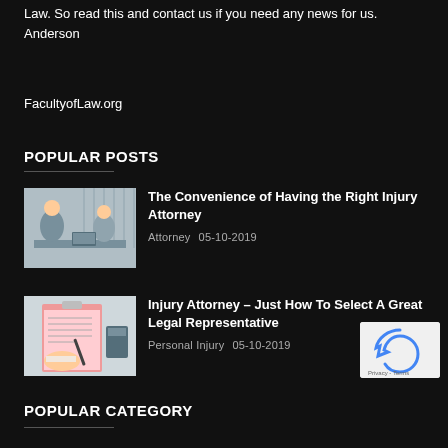Law. So read this and contact us if you need any news for us.
Anderson
FacultyofLaw.org
POPULAR POSTS
[Figure (photo): Two people sitting at a desk, appearing to be in a consultation — one person (male) across from another (female) with a laptop]
The Convenience of Having the Right Injury Attorney
Attorney   05-10-2019
[Figure (photo): A clipboard with a form, a pen, and a bandaged hand resting on it, alongside a calculator]
Injury Attorney – Just How To Select A Great Legal Representative
Personal Injury   05-10-2019
[Figure (other): Google reCAPTCHA widget with logo and Privacy/Terms text]
POPULAR CATEGORY